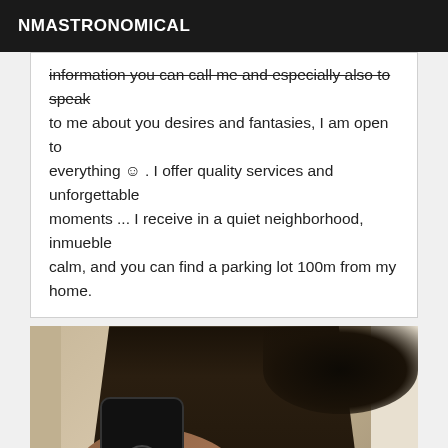NMASTRONOMICAL
information you can call me and especially also to speak to me about you desires and fantasies, I am open to everything ☺ . I offer quality services and unforgettable moments ... I receive in a quiet neighborhood, inmueble calm, and you can find a parking lot 100m from my home.
[Figure (photo): Mirror selfie photo of a person wearing a black dress, holding a smartphone camera, taken in a room]